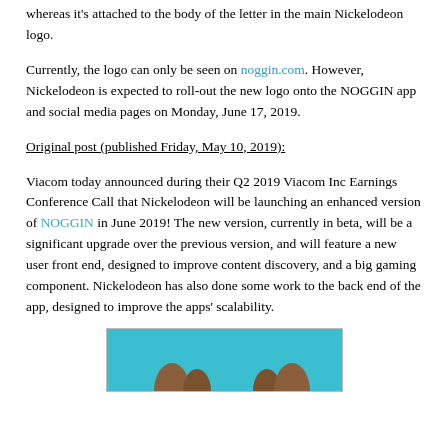whereas it's attached to the body of the letter in the main Nickelodeon logo.
Currently, the logo can only be seen on noggin.com. However, Nickelodeon is expected to roll-out the new logo onto the NOGGIN app and social media pages on Monday, June 17, 2019.
Original post (published Friday, May 10, 2019):
Viacom today announced during their Q2 2019 Viacom Inc Earnings Conference Call that Nickelodeon will be launching an enhanced version of NOGGIN in June 2019! The new version, currently in beta, will be a significant upgrade over the previous version, and will feature a new user front end, designed to improve content discovery, and a big gaming component. Nickelodeon has also done some work to the back end of the app, designed to improve the apps' scalability.
[Figure (illustration): Partial view of a NOGGIN branded image with teal/cyan background showing illustrated cartoon characters (feet/legs visible at bottom).]